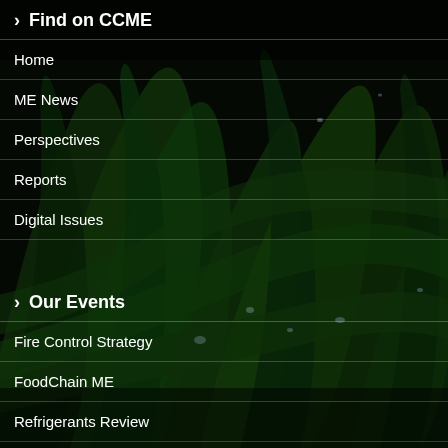> Find on CCME
Home
ME News
Perspectives
Reports
Digital Issues
> Our Events
Fire Control Strategy
FoodChain ME
Refrigerants Review
VRF Conference